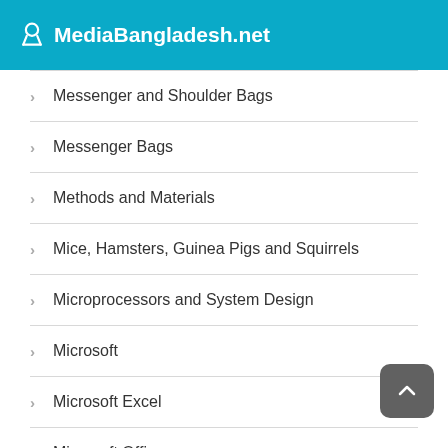MediaBangladesh.net
Messenger and Shoulder Bags
Messenger Bags
Methods and Materials
Mice, Hamsters, Guinea Pigs and Squirrels
Microprocessors and System Design
Microsoft
Microsoft Excel
Microsoft Office
Microsoft Programming